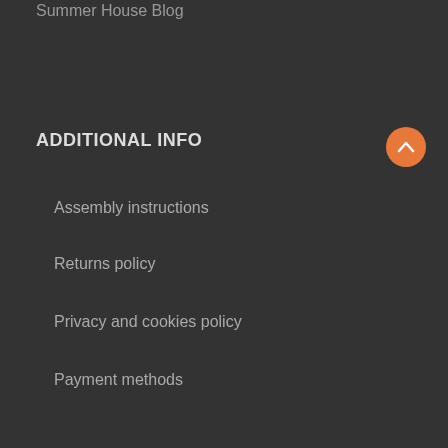Summer House Blog
ADDITIONAL INFO
[Figure (other): Orange chevron up button circle]
Assembly instructions
Returns policy
Privacy and cookies policy
Payment methods
Delivery information
CONTACT US
[Figure (other): Green upload/share button with orange dot]
Summerhouse24
6 Cannon Road,
Heathfield Industrial Estate